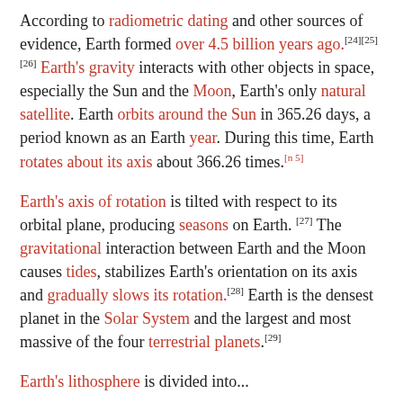According to radiometric dating and other sources of evidence, Earth formed over 4.5 billion years ago.[24][25][26] Earth's gravity interacts with other objects in space, especially the Sun and the Moon, Earth's only natural satellite. Earth orbits around the Sun in 365.26 days, a period known as an Earth year. During this time, Earth rotates about its axis about 366.26 times.[n 5]
Earth's axis of rotation is tilted with respect to its orbital plane, producing seasons on Earth. [27] The gravitational interaction between Earth and the Moon causes tides, stabilizes Earth's orientation on its axis and gradually slows its rotation.[28] Earth is the densest planet in the Solar System and the largest and most massive of the four terrestrial planets.[29]
Earth's lithosphere is divided into...